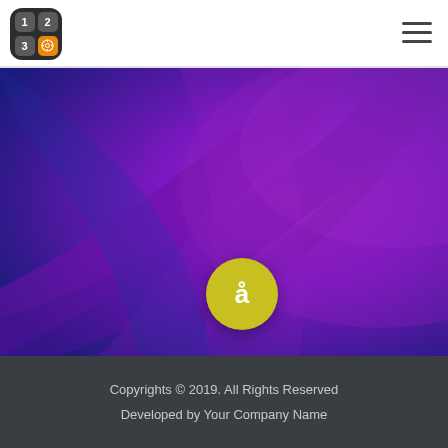[Figure (logo): App icon with 2x2 grid: cells showing 1, 2, 3 and orange fingerprint/gear icon on dark rounded square background]
[Figure (other): Hamburger menu icon with three horizontal lines]
[Figure (illustration): Hero background with swirling blue-to-purple gradient radial beams, featuring a yellow circular button with 'å' character in the center]
Copyrights © 2019. All Rights Reserved
Developed by Your Company Name